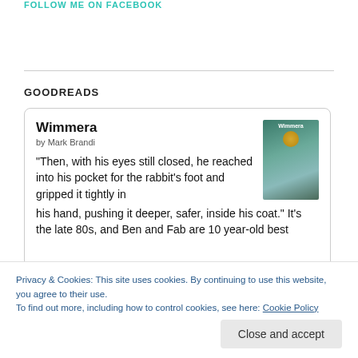FOLLOW ME ON FACEBOOK
GOODREADS
Wimmera
by Mark Brandi
“Then, with his eyes still closed, he reached into his pocket for the rabbit’s foot and gripped it tightly in his hand, pushing it deeper, safer, inside his coat.” It’s the late 80s, and Ben and Fab are 10 year-old best
[Figure (illustration): Book cover of Wimmera by Mark Brandi showing a person standing near water with a gold medal emblem]
Privacy & Cookies: This site uses cookies. By continuing to use this website, you agree to their use.
To find out more, including how to control cookies, see here: Cookie Policy
Close and accept
affectionately, and she turned with a smile, patted